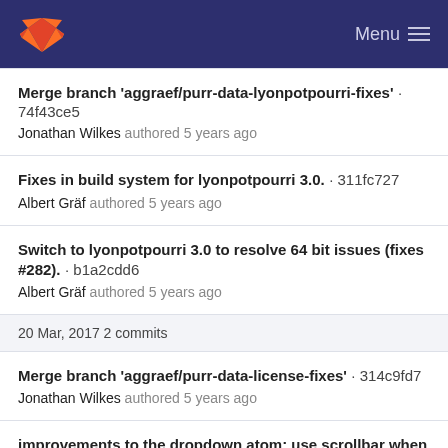GitLab — Menu
Merge branch 'aggraef/purr-data-lyonpotpourri-fixes' · 74f43ce5
Jonathan Wilkes authored 5 years ago
Fixes in build system for lyonpotpourri 3.0. · 311fc727
Albert Gräf authored 5 years ago
Switch to lyonpotpourri 3.0 to resolve 64 bit issues (fixes #282). · b1a2cdd6
Albert Gräf authored 5 years ago
20 Mar, 2017 2 commits
Merge branch 'aggraef/purr-data-license-fixes' · 314c9fd7
Jonathan Wilkes authored 5 years ago
improvements to the dropdown atom: use scrollbar when menu size exceeds the... · 8be60dcc
Jonathan Wilkes authored 5 years ago